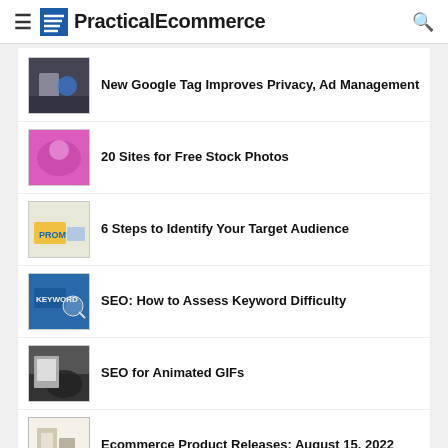PracticalEcommerce
New Google Tag Improves Privacy, Ad Management
20 Sites for Free Stock Photos
6 Steps to Identify Your Target Audience
SEO: How to Assess Keyword Difficulty
SEO for Animated GIFs
Ecommerce Product Releases: August 15, 2022